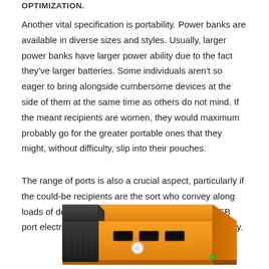OPTIMIZATION.
Another vital specification is portability. Power banks are available in diverse sizes and styles. Usually, larger power banks have larger power ability due to the fact they've larger batteries. Some individuals aren't so eager to bring alongside cumbersome devices at the side of them at the same time as others do not mind. If the meant recipients are women, they would maximum probably go for the greater portable ones that they might, without difficulty, slip into their pouches.
The range of ports is also a crucial aspect, particularly if the could-be recipients are the sort who convey along loads of devices with them. Otherwise, an easy USB port electricity bank could be sufficient to do the activity.
[Figure (photo): Orange and black portable power bank device with USB ports and a circular button on top, shown at an angle.]